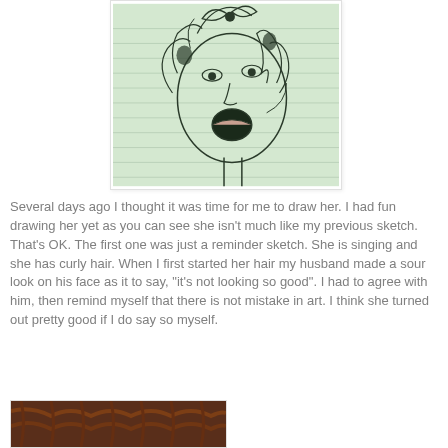[Figure (illustration): A pencil sketch of a woman with curly hair, a bow/flower hair accessory, and an open mouth as if singing, drawn on lined paper with a greenish tint.]
Several days ago I thought it was time for me to draw her.  I had fun drawing her yet as you can see she isn't much like my previous sketch.  That's OK.  The first one was just a reminder sketch.  She is singing and she has curly hair.  When I first started her hair my husband made a sour look on his face as it to say, "it's not looking so good".  I had to agree with him, then remind myself that there is not mistake in art.  I think she turned out pretty good if I do say so myself.
[Figure (photo): A photo of what appears to be a brown braided or textured food item, possibly a bread or cake.]